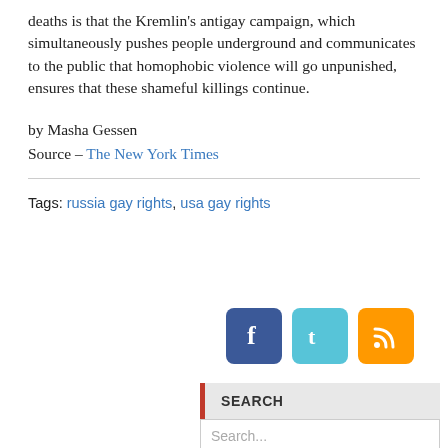deaths is that the Kremlin's antigay campaign, which simultaneously pushes people underground and communicates to the public that homophobic violence will go unpunished, ensures that these shameful killings continue.
by Masha Gessen
Source – The New York Times
Tags: russia gay rights, usa gay rights
[Figure (infographic): Social media sharing icons: Facebook (blue), Twitter (teal), RSS (orange)]
SEARCH
Search...